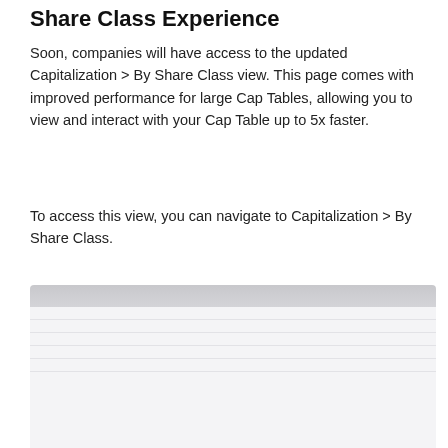Share Class Experience
Soon, companies will have access to the updated Capitalization > By Share Class view. This page comes with improved performance for large Cap Tables, allowing you to view and interact with your Cap Table up to 5x faster.
To access this view, you can navigate to Capitalization > By Share Class.
[Figure (screenshot): Screenshot of the Capitalization By Share Class view interface, showing a table with light gray rows and columns.]